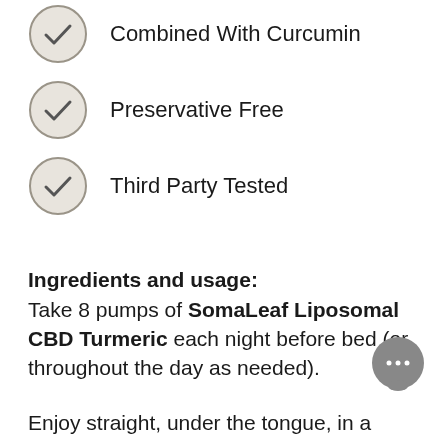Combined With Curcumin
Preservative Free
Third Party Tested
Ingredients and usage:
Take 8 pumps of SomaLeaf Liposomal CBD Turmeric each night before bed (or throughout the day as needed).
Enjoy straight, under the tongue, in a